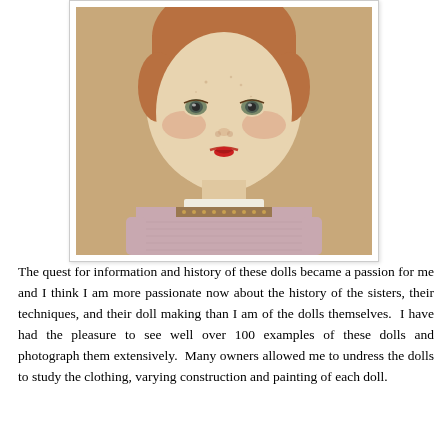[Figure (photo): Close-up photograph of an antique fabric doll with a painted round face, brown hair, grey eyes, rosy cheeks, and red lips. The doll wears a pink/mauve knitted sweater with a decorative trim at the neckline. Background is a warm tan/beige color.]
The quest for information and history of these dolls became a passion for me and I think I am more passionate now about the history of the sisters, their techniques, and their doll making than I am of the dolls themselves.  I have had the pleasure to see well over 100 examples of these dolls and photograph them extensively.  Many owners allowed me to undress the dolls to study the clothing, varying construction and painting of each doll.